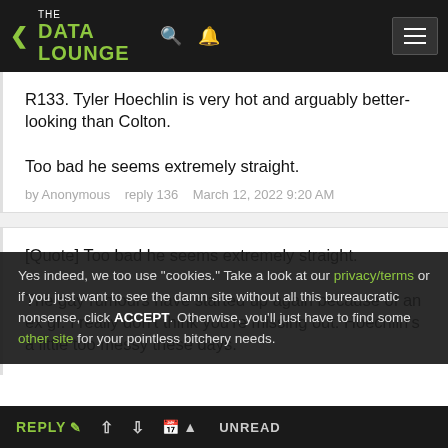THE DATA LOUNGE
R133. Tyler Hoechlin is very hot and arguably better-looking than Colton.

Too bad he seems extremely straight.
by Anonymous   reply 136   March 12, 2022 9:20 AM
[Quote] Too bad he seems extremely straight.

The gay rumours have started up again because of an ex gf. I really don't think you're missing out. Hoechlin's a little too messy these days.
Yes indeed, we too use "cookies." Take a look at our privacy/terms or if you just want to see the damn site without all this bureaucratic nonsense, click ACCEPT. Otherwise, you'll just have to find some other site for your pointless bitchery needs.
REPLY  ∧  ∨  📅  UNREAD